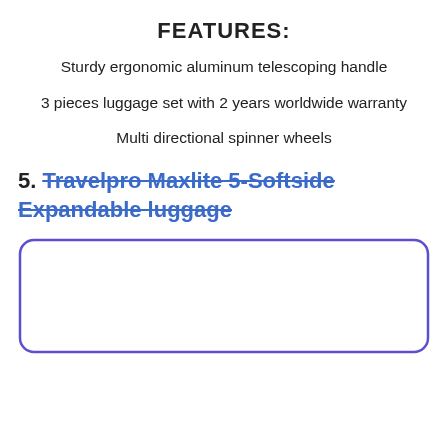FEATURES:
Sturdy ergonomic aluminum telescoping handle
3 pieces luggage set with 2 years worldwide warranty
Multi directional spinner wheels
5. Travelpro Maxlite 5-Softside Expandable luggage
[Figure (other): Rounded rectangle box outline in purple/indigo color, partially visible at bottom of page]